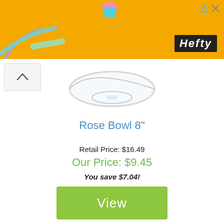[Figure (screenshot): Orange Hefty advertisement banner with decorative elements (straw, cup icon) and Hefty logo in dark rounded rectangle]
[Figure (photo): Clear glass Rose Bowl 8 inch product image on white background]
Rose Bowl 8"
Retail Price: $16.49
Our Price: $9.45
You save $7.04!
View